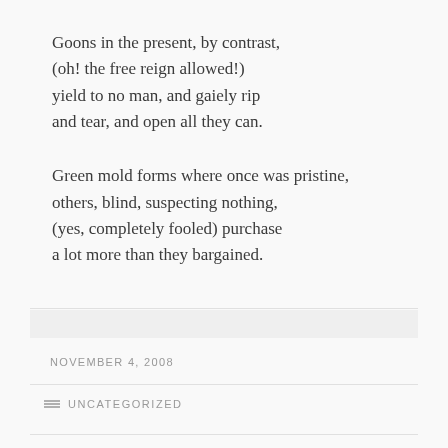Goons in the present, by contrast,
(oh! the free reign allowed!)
yield to no man, and gaiely rip
and tear, and open all they can.
Green mold forms where once was pristine,
others, blind, suspecting nothing,
(yes, completely fooled) purchase
a lot more than they bargained.
NOVEMBER 4, 2008
UNCATEGORIZED